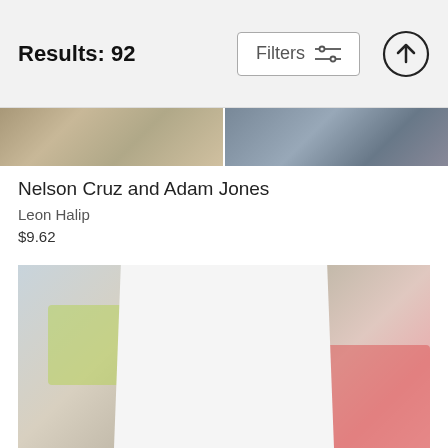Results: 92
Filters
[Figure (photo): Cropped sports photo strip showing Nelson Cruz and Adam Jones, partially visible at the top of the page]
Nelson Cruz and Adam Jones
Leon Halip
$9.62
[Figure (photo): Minnesota Twins pitcher wearing white pinstripe Twins uniform and navy blue cap, mid-pitch delivery motion, holding a brown baseball glove]